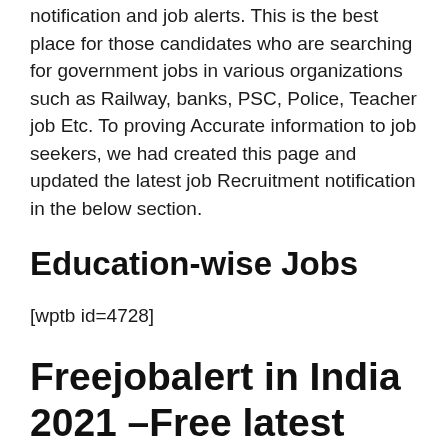notification and job alerts. This is the best place for those candidates who are searching for government jobs in various organizations such as Railway, banks, PSC, Police, Teacher job Etc. To proving Accurate information to job seekers, we had created this page and updated the latest job Recruitment notification in the below section.
Education-wise Jobs
[wptb id=4728]
Freejobalert in India 2021 –Free latest Govt jobs alert